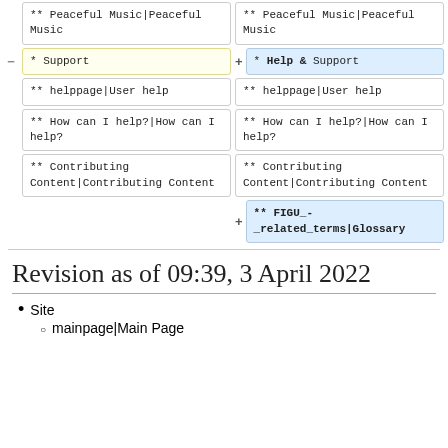** Peaceful Music|Peaceful Music
** Peaceful Music|Peaceful Music
* Support
* Help & Support
** helppage|User help
** helppage|User help
** How can I help?|How can I help?
** How can I help?|How can I help?
** Contributing Content|Contributing Content
** Contributing Content|Contributing Content
** FIGU_-_related_terms|Glossary
Revision as of 09:39, 3 April 2022
Site
mainpage|Main Page